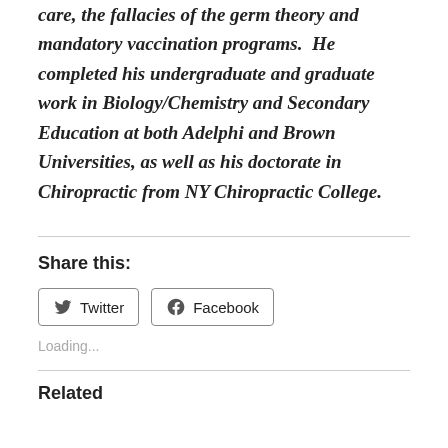care, the fallacies of the germ theory and mandatory vaccination programs.  He completed his undergraduate and graduate work in Biology/Chemistry and Secondary Education at both Adelphi and Brown Universities, as well as his doctorate in Chiropractic from NY Chiropractic College.
Share this:
Twitter  Facebook
Loading...
Related